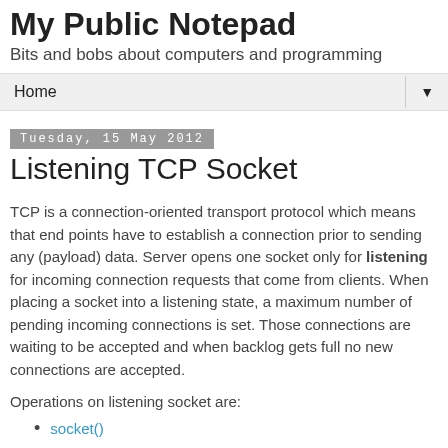My Public Notepad
Bits and bobs about computers and programming
Home ▼
Tuesday, 15 May 2012
Listening TCP Socket
TCP is a connection-oriented transport protocol which means that end points have to establish a connection prior to sending any (payload) data. Server opens one socket only for listening for incoming connection requests that come from clients. When placing a socket into a listening state, a maximum number of pending incoming connections is set. Those connections are waiting to be accepted and when backlog gets full no new connections are accepted.
Operations on listening socket are:
socket()
bind()